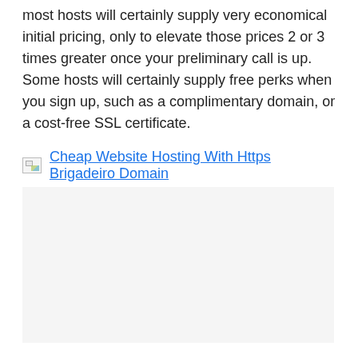most hosts will certainly supply very economical initial pricing, only to elevate those prices 2 or 3 times greater once your preliminary call is up. Some hosts will certainly supply free perks when you sign up, such as a complimentary domain, or a cost-free SSL certificate.
[Figure (illustration): Broken image placeholder with link text: Cheap Website Hosting With Https Brigadeiro Domain]
While some hosts will certainly be able to provide better performance and high degrees of safety.
Listed below we dive deep right into the very best affordable